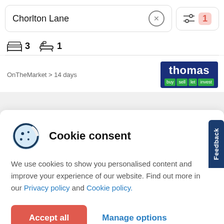Chorlton Lane
1
3  1
OnTheMarket > 14 days
[Figure (logo): Thomas estate agency logo with blue background, white text 'thomas', and four green tabs: buy, sell, let, invest]
Cookie consent
We use cookies to show you personalised content and improve your experience of our website. Find out more in our Privacy policy and Cookie policy.
Accept all
Manage options
Feedback